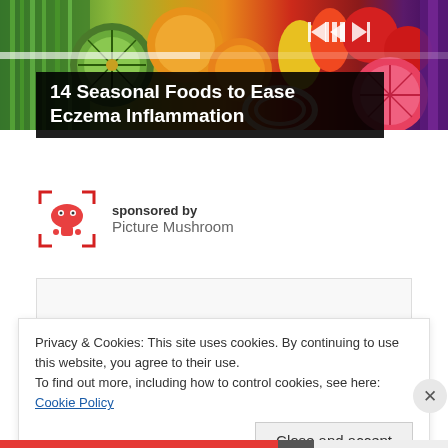[Figure (photo): A vibrant overhead photo of colorful fruits and vegetables including celery, kiwi, oranges, peppers, tomatoes, grapefruit, and purple eggplant/cabbage with media playback controls overlay]
14 Seasonal Foods to Ease Eczema Inflammation
sponsored by
Picture Mushroom
Privacy & Cookies: This site uses cookies. By continuing to use this website, you agree to their use.
To find out more, including how to control cookies, see here: Cookie Policy
Close and accept